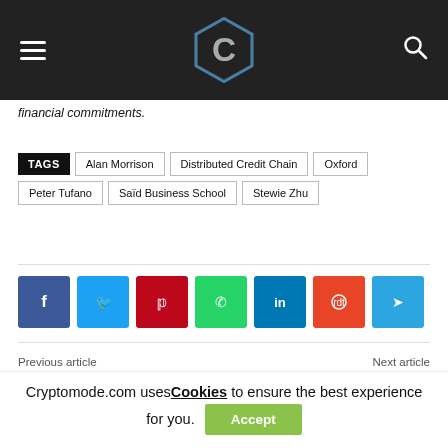[Figure (logo): Cryptomode website logo - hexagonal C icon on dark navbar with hamburger menu and search icon]
financial commitments.
TAGS  Alan Morrison  Distributed Credit Chain  Oxford  Peter Tufano  Saïd Business School  Stewie Zhu
[Figure (infographic): Social media share buttons: Facebook, Twitter, Pinterest, WhatsApp, LinkedIn, Reddit, Telegram]
Previous article    Next article
Cryptomode.com uses Cookies to ensure the best experience for you.  Accept